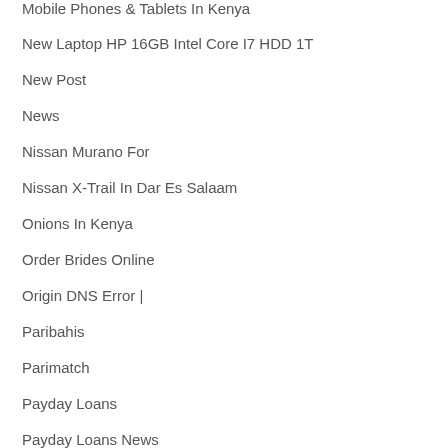Mobile Phones & Tablets In Kenya
New Laptop HP 16GB Intel Core I7 HDD 1T
New Post
News
Nissan Murano For
Nissan X-Trail In Dar Es Salaam
Onions In Kenya
Order Brides Online
Origin DNS Error |
Paribahis
Parimatch
Payday Loans
Payday Loans News
Pin Up